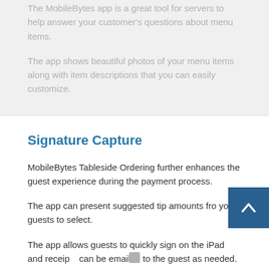The MobileBytes app is a great tool for servers to help answer your customer's questions about menu items.
The app shows beautiful photos of your menu items along with item descriptions that you can easily customize.
Signature Capture
MobileBytes Tableside Ordering further enhances the guest experience during the payment process.
The app can present suggested tip amounts fro your guests to select.
The app allows guests to quickly sign on the iPad and receipts can be emailed to the guest as needed.